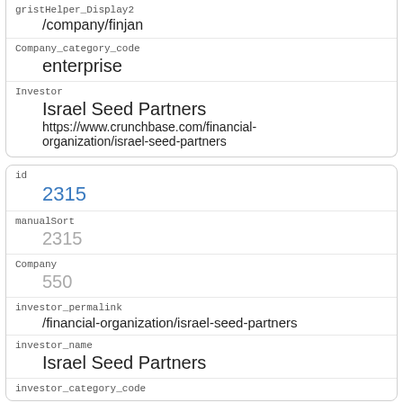| gristHelper_Display2 | /company/finjan |
| Company_category_code | enterprise |
| Investor | Israel Seed Partners
https://www.crunchbase.com/financial-organization/israel-seed-partners |
| id | 2315 |
| manualSort | 2315 |
| Company | 550 |
| investor_permalink | /financial-organization/israel-seed-partners |
| investor_name | Israel Seed Partners |
| investor_category_code |  |